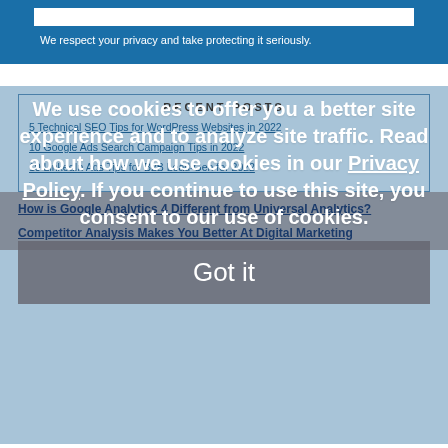We respect your privacy and take protecting it seriously.
RECENT POSTS
5 Technical SEO Tips for WordPress Websites in 2022
10 Google Ads Search Campaign Tips in 2022
10 LinkedIn Ads Tips for B2B Lead-Gen for 2022
How is Google Analytics 4 Different from Universal Analytics?
Competitor Analysis Makes You Better At Digital Marketing
We use cookies to offer you a better site experience and to analyze site traffic. Read about how we use cookies in our Privacy Policy. If you continue to use this site, you consent to our use of cookies.
Got it